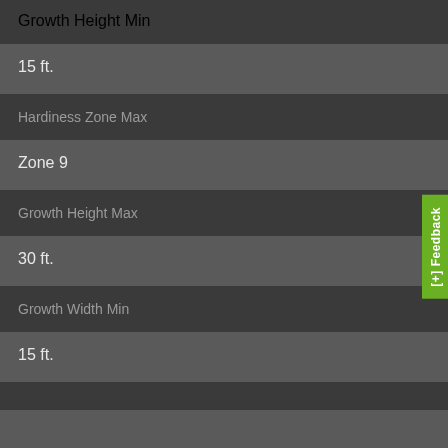Growth Height Min
15 ft.
Hardiness Zone Max
Zone 9
Growth Height Max
30 ft.
Growth Width Min
15 ft.